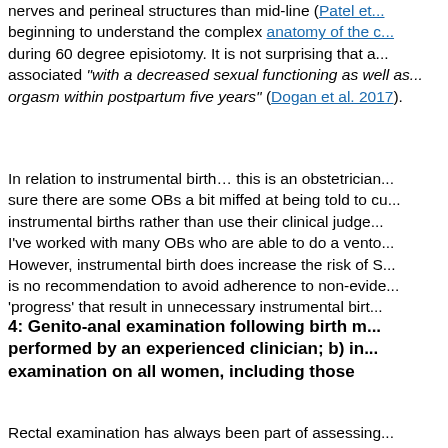nerves and perineal structures than mid-line (Patel et... beginning to understand the complex anatomy of the c... during 60 degree episiotomy. It is not surprising that a... associated "with a decreased sexual functioning as well as... orgasm within postpartum five years" (Dogan et al. 2017).
In relation to instrumental birth... this is an obstetrician... sure there are some OBs a bit miffed at being told to cu... instrumental births rather than use their clinical judge... I've worked with many OBs who are able to do a vento... However, instrumental birth does increase the risk of S... is no recommendation to avoid adherence to non-evide... 'progress' that result in unnecessary instrumental birt...
4: Genito-anal examination following birth m... performed by an experienced clinician; b) in... examination on all women, including those
Rectal examination has always been part of assessing...